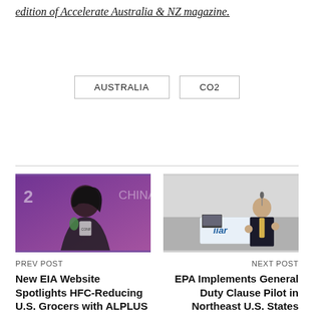edition of Accelerate Australia & NZ magazine.
AUSTRALIA
CO2
[Figure (photo): Woman with microphone speaking at a conference with purple background]
PREV POST
New EIA Website Spotlights HFC-Reducing U.S. Grocers with ALPLUS
[Figure (photo): Man in suit presenting at IIAR conference event]
NEXT POST
EPA Implements General Duty Clause Pilot in Northeast U.S. States